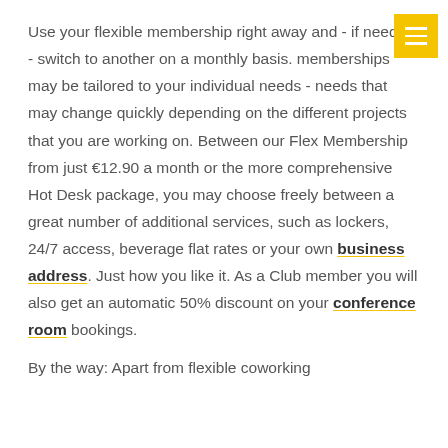Use your flexible membership right away and - if needed - switch to another on a monthly basis. memberships may be tailored to your individual needs - needs that may change quickly depending on the different projects that you are working on. Between our Flex Membership from just €12.90 a month or the more comprehensive Hot Desk package, you may choose freely between a great number of additional services, such as lockers, 24/7 access, beverage flat rates or your own business address. Just how you like it. As a Club member you will also get an automatic 50% discount on your conference room bookings.
By the way: Apart from flexible coworking